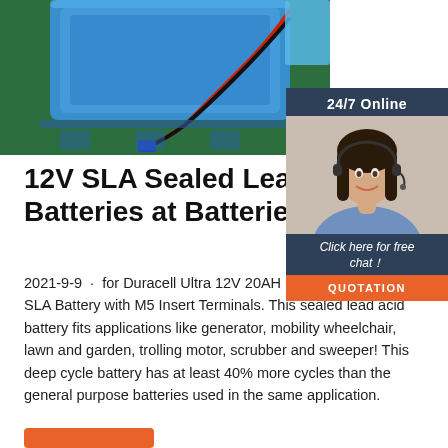[Figure (photo): Photo of a blue plastic tray/box with red and black wires and a blue connector on a green surface]
[Figure (photo): 24/7 Online chat widget with a woman wearing a headset, 'Click here for free chat!' text and QUOTATION button]
12V SLA Sealed Lead Acid Batteries at Batteries Plus B
2021-9-9 · for Duracell Ultra 12V 20AH Deep Cycle AGM SLA Battery with M5 Insert Terminals. This sealed lead acid battery fits applications like generator, mobility wheelchair, lawn and garden, trolling motor, scrubber and sweeper! This deep cycle battery has at least 40% more cycles than the general purpose batteries used in the same application.